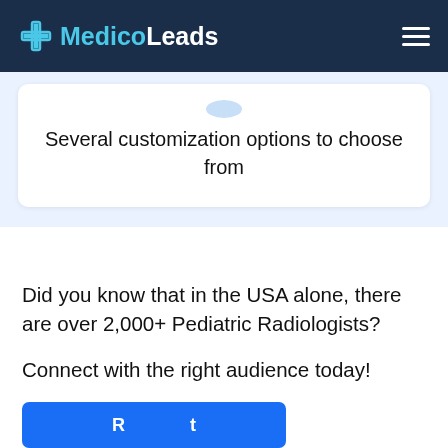MedicoLeads
[Figure (logo): MedicoLeads logo with medical cross icon and teal/white wordmark on dark navy background]
Several customization options to choose from
Did you know that in the USA alone, there are over 2,000+ Pediatric Radiologists?
Connect with the right audience today!